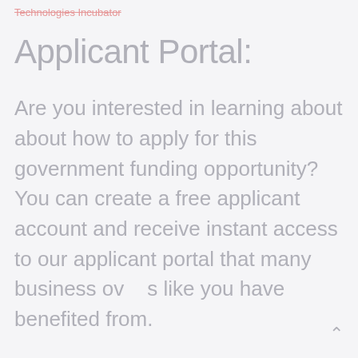Technologies Incubator
Applicant Portal:
Are you interested in learning about about how to apply for this government funding opportunity? You can create a free applicant account and receive instant access to our applicant portal that many business ov s like you have benefited from.
APPLY FOR DE FOA 0002595